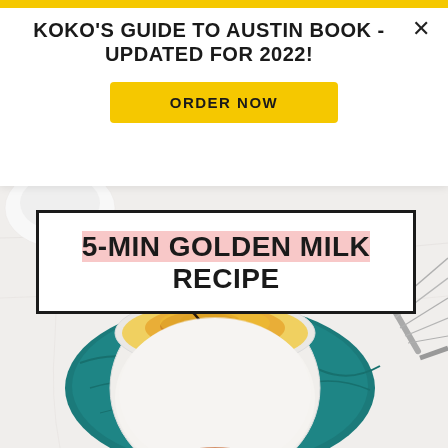KOKO'S GUIDE TO AUSTIN BOOK - UPDATED FOR 2022!
ORDER NOW
[Figure (photo): Top-down view of a white mug shaped like a cat, containing golden milk (turmeric latte) with yellow-orange turmeric powder and a vanilla bean on top, placed on a teal/dark green cloth napkin, with a metal whisk visible in the upper right corner, on a white marble surface]
5-MIN GOLDEN MILK RECIPE